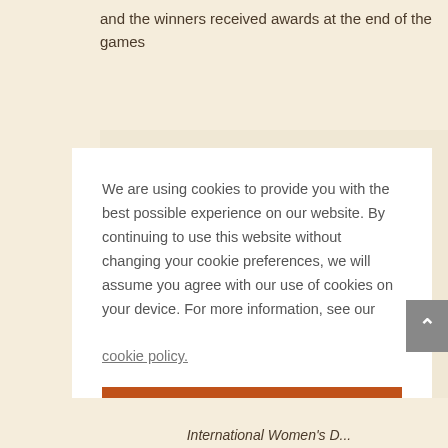and the winners received awards at the end of the games
We are using cookies to provide you with the best possible experience on our website. By continuing to use this website without changing your cookie preferences, we will assume you agree with our use of cookies on your device. For more information, see our cookie policy.
Accept
International Women's D...